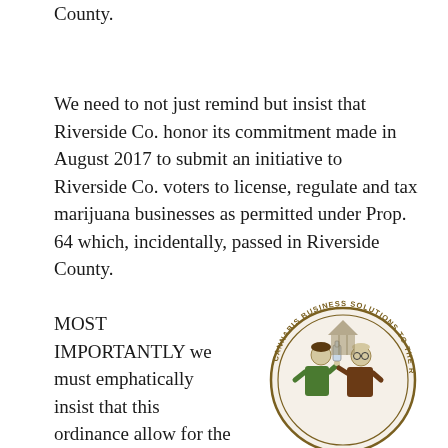County.
We need to not just remind but insist that Riverside Co. honor its commitment made in August 2017 to submit an initiative to Riverside Co. voters to license, regulate and tax marijuana businesses as permitted under Prop. 64 which, incidentally, passed in Riverside County.
MOST IMPORTANTLY we must emphatically insist that this ordinance allow for the licensing of microbusinesses as
[Figure (logo): Cannabis Business Solutions to the Rescue circular logo featuring two people (one in green, one in brown) holding laboratory equipment, with text around the border reading CANNABIS BUSINESS SOLUTIONS TO THE RESCUE]